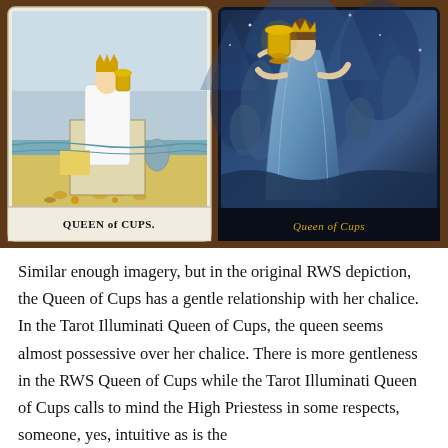[Figure (photo): Two tarot cards side by side on a brown wooden surface. Left card: classic Rider-Waite-Smith Queen of Cups showing a queen seated on a throne holding an ornate chalice, with label 'QUEEN of CUPS.' at the bottom. Right card: Tarot Illuminati version of Queen of Cups showing a mystical queen in blue robes holding a golden cup, with label 'Queen of Cups' in golden script at the bottom.]
Similar enough imagery, but in the original RWS depiction, the Queen of Cups has a gentle relationship with her chalice. In the Tarot Illuminati Queen of Cups, the queen seems almost possessive over her chalice. There is more gentleness in the RWS Queen of Cups while the Tarot Illuminati Queen of Cups calls to mind the High Priestess in some respects, someone, yes, intuitive as is the